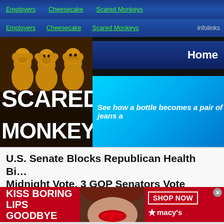Employers | Cheesecake | Scared Monkeys
Employers | Cheesecake | Scared Monkeys | infolinks
[Figure (logo): Scared Monkeys website logo with three wise monkeys statue image and bold text reading SCARED MONKEYS. To the right: Home navigation bar and a blue advertisement banner reading 'See how a bottle becomes a pair of jeans a']
U.S. Senate Blocks Republican Health Bi… Midnight Vote, 3 GOP Senators Vote again… Collins, Lisa Murkowski, John McCain)
[Figure (photo): Macy's advertisement: red background with woman's face, lips, text reading KISS BORING LIPS GOODBYE, SHOP NOW button, and Macy's star logo]